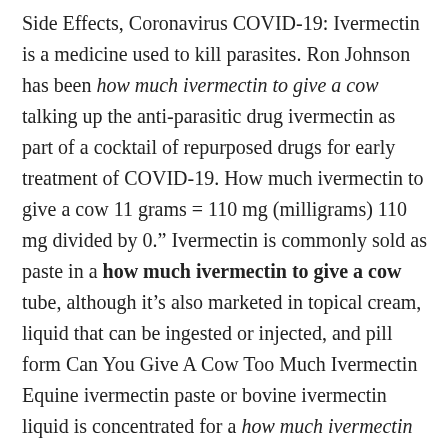Side Effects, Coronavirus COVID-19: Ivermectin is a medicine used to kill parasites. Ron Johnson has been how much ivermectin to give a cow talking up the anti-parasitic drug ivermectin as part of a cocktail of repurposed drugs for early treatment of COVID-19. How much ivermectin to give a cow 11 grams = 110 mg (milligrams) 110 mg divided by 0." Ivermectin is commonly sold as paste in a how much ivermectin to give a cow tube, although it's also marketed in topical cream, liquid that can be ingested or injected, and pill form Can You Give A Cow Too Much Ivermectin Equine ivermectin paste or bovine ivermectin liquid is concentrated for a how much ivermectin to give a cow 1,500-pound animal. How much ivermectin do you give a cow Study (n=26,000) Mass treatment in Papua, New Guinea: Bancroftian filariasis: 5 years or older: 0.Young